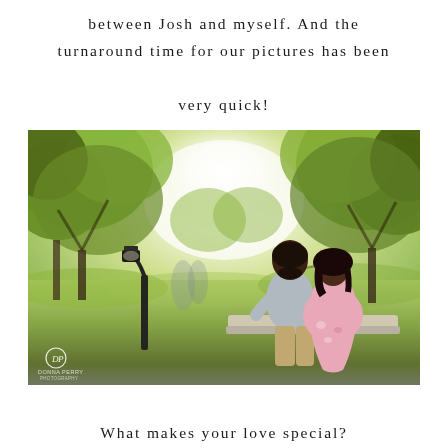between Josh and myself. And the turnaround time for our pictures has been very quick!
[Figure (photo): Engagement photo of a couple sitting outdoors in a park setting, kissing, surrounded by green trees with a lamp post visible on the left. Photo has a bright, airy quality. Photographer watermark 'DP DONNA PERRY' visible in lower left corner.]
What makes your love special?